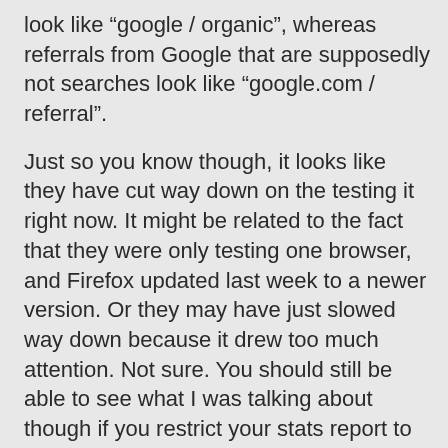look like “google / organic”, whereas referrals from Google that are supposedly not searches look like “google.com / referral”.
Just so you know though, it looks like they have cut way down on the testing it right now. It might be related to the fact that they were only testing one browser, and Firefox updated last week to a newer version. Or they may have just slowed way down because it drew too much attention. Not sure. You should still be able to see what I was talking about though if you restrict your stats report to Feb 1st through Feb 5th. For that period a little more than 25% of my Google traffic was direct, without keywords